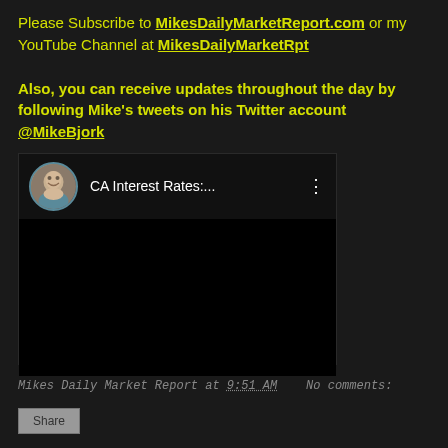Please Subscribe to MikesDailyMarketReport.com or my YouTube Channel at MikesDailyMarketRpt
Also, you can receive updates throughout the day by following Mike's tweets on his Twitter account @MikeBjork
[Figure (screenshot): YouTube video thumbnail showing a man's avatar and text 'CA Interest Rates:...' with a vertical dots menu icon on a dark background]
Mikes Daily Market Report at 9:51 AM    No comments:
Share